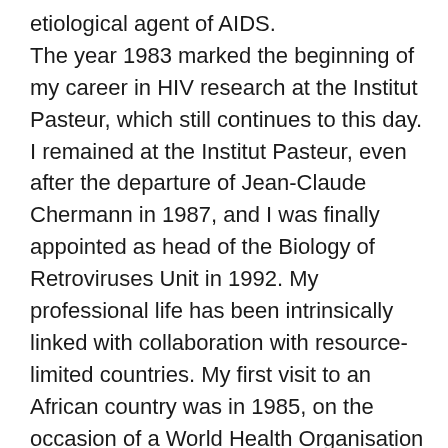etiological agent of AIDS. The year 1983 marked the beginning of my career in HIV research at the Institut Pasteur, which still continues to this day. I remained at the Institut Pasteur, even after the departure of Jean-Claude Chermann in 1987, and I was finally appointed as head of the Biology of Retroviruses Unit in 1992. My professional life has been intrinsically linked with collaboration with resource-limited countries. My first visit to an African country was in 1985, on the occasion of a World Health Organisation (WHO) workshop in Bangui (Central African Republic). This visit was an eye-opening experience. The culture shock and dire conditions impressed me greatly and instilled in me a desire and necessity to collaborate